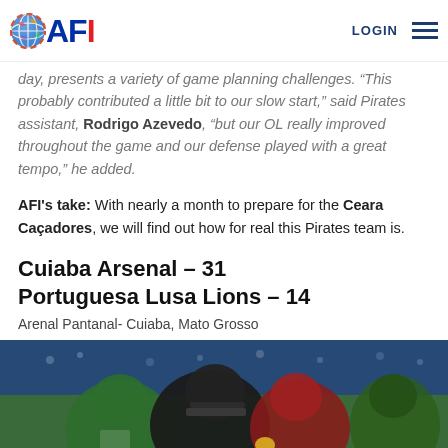AFI | LOGIN
day, presents a variety of game planning challenges. "This probably contributed a little bit to our slow start," said Pirates assistant, Rodrigo Azevedo, "but our OL really improved throughout the game and our defense played with a great tempo," he added.
AFI's take: With nearly a month to prepare for the Ceara Caçadores, we will find out how for real this Pirates team is.
Cuiaba Arsenal – 31
Portuguesa Lusa Lions – 14
Arenal Pantanal- Cuiaba, Mato Grosso
[Figure (photo): American football players in action, players in green/yellow and red uniforms colliding during a game]